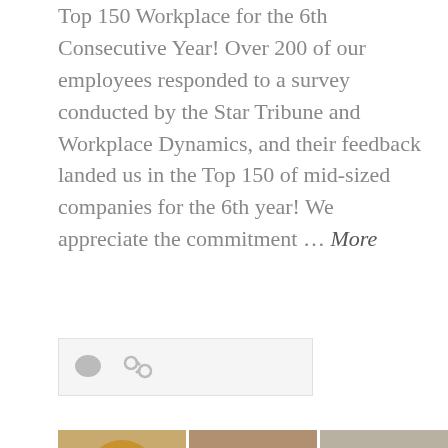Top 150 Workplace for the 6th Consecutive Year! Over 200 of our employees responded to a survey conducted by the Star Tribune and Workplace Dynamics, and their feedback landed us in the Top 150 of mid-sized companies for the 6th year! We appreciate the commitment … More
[Figure (other): Icon bar with comment bubble icon and link icon on a light gray background]
[Figure (photo): Grid of 5 photos: top row has a corgi dog, a small dog in a red sweater with CrossFit text visible, and a black and tan dog; bottom row has two French bulldogs and a round white robot/speaker device]